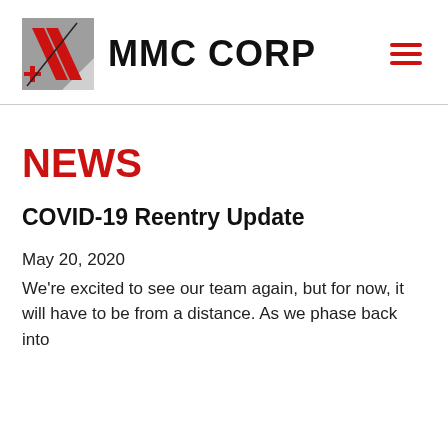[Figure (logo): MMC Corp logo with diagonal red and grey geometric lines/slashes graphic mark beside the text 'MMC CORP' in bold black, with a red hamburger menu icon on the right]
NEWS
COVID-19 Reentry Update
May 20, 2020
We're excited to see our team again, but for now, it will have to be from a distance. As we phase back into